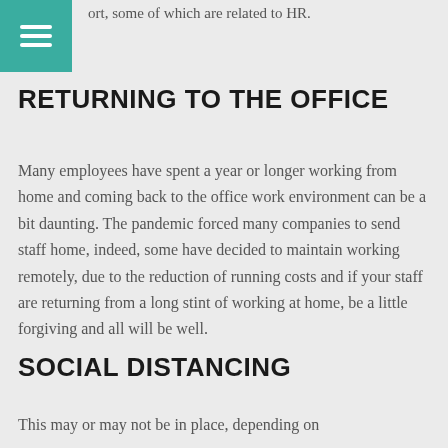ort, some of which are related to HR.
RETURNING TO THE OFFICE
Many employees have spent a year or longer working from home and coming back to the office work environment can be a bit daunting. The pandemic forced many companies to send staff home, indeed, some have decided to maintain working remotely, due to the reduction of running costs and if your staff are returning from a long stint of working at home, be a little forgiving and all will be well.
SOCIAL DISTANCING
This may or may not be in place, depending on